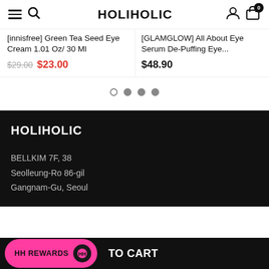HOLIHOLIC
[innisfree] Green Tea Seed Eye Cream 1.01 Oz/ 30 Ml
$29.00  $23.00
[GLAMGLOW] All About Eye Serum De-Puffing Eye...
$48.90
[Figure (other): Pagination dots: one empty circle and three filled grey circles]
HOLIHOLIC
BELLKIM 7F, 38
Seolleung-Ro 86-gil
Gangnam-Gu, Seoul
HH REWARDS   TO CART